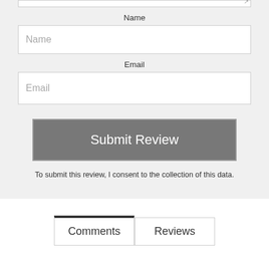Name
[Figure (screenshot): Name input field with placeholder text 'Name']
Email
[Figure (screenshot): Email input field with placeholder text 'Email']
[Figure (screenshot): Submit Review button in gray]
To submit this review, I consent to the collection of this data.
[Figure (screenshot): Tab bar with Comments (active) and Reviews tabs]